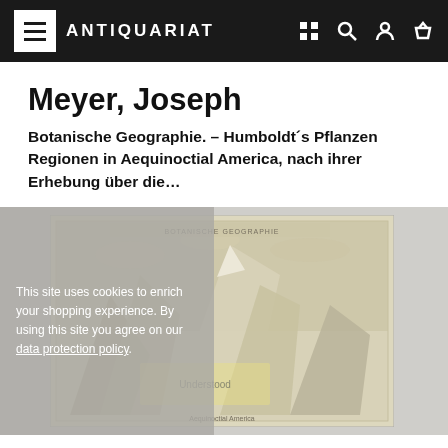ANTIQUARIAT
Meyer, Joseph
Botanische Geographie. – Humboldt´s Pflanzen Regionen in Aequinoctial America, nach ihrer Erhebung über die…
[Figure (photo): Antique engraving/map showing mountain silhouettes with Humboldt plant zone diagram, overlaid with cookie consent notice reading: This site uses cookies to enrich your shopping experience. By using this site you agree on our data protection policy.]